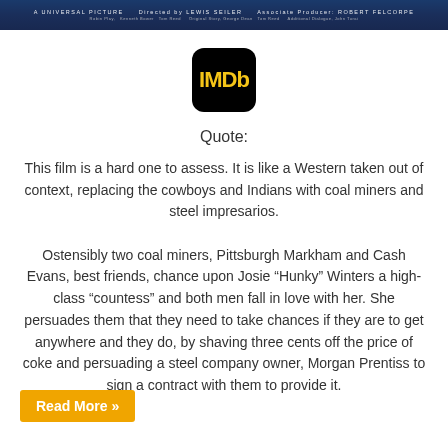[Figure (photo): Movie banner/poster strip at top — dark blue background with white text credits: 'A UNIVERSAL PICTURE', 'Directed by LEWIS SEILER', 'Associate Producer: ROBERT FELCORPE', cast and crew names below]
[Figure (logo): IMDb logo — black rounded square with yellow 'IMDb' text]
Quote:
This film is a hard one to assess. It is like a Western taken out of context, replacing the cowboys and Indians with coal miners and steel impresarios.

Ostensibly two coal miners, Pittsburgh Markham and Cash Evans, best friends, chance upon Josie “Hunky” Winters a high-class “countess” and both men fall in love with her. She persuades them that they need to take chances if they are to get anywhere and they do, by shaving three cents off the price of coke and persuading a steel company owner, Morgan Prentiss to sign a contract with them to provide it.
Read More »